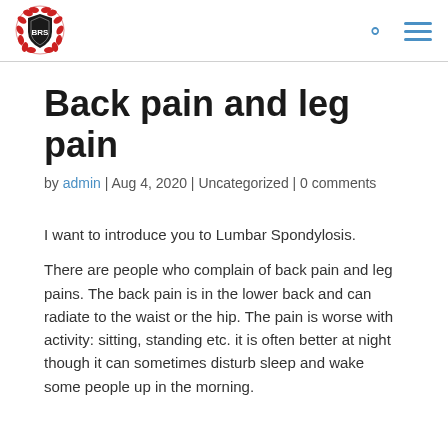[Figure (logo): BRS shield logo with red laurel wreath and dark shield crest]
Back pain and leg pain
by admin | Aug 4, 2020 | Uncategorized | 0 comments
I want to introduce you to Lumbar Spondylosis.
There are people who complain of back pain and leg pains. The back pain is in the lower back and can radiate to the waist or the hip. The pain is worse with activity: sitting, standing etc. it is often better at night though it can sometimes disturb sleep and wake some people up in the morning.